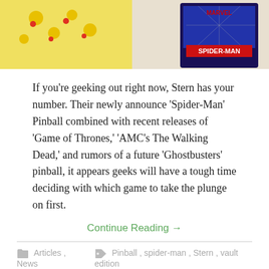[Figure (photo): Partial image showing a Spider-Man pinball machine and a colorful logo on the left side]
If you’re geeking out right now, Stern has your number. Their newly announce ‘Spider-Man’ Pinball combined with recent releases of ‘Game of Thrones,’ ‘AMC’s The Walking Dead,’ and rumors of a future ‘Ghostbusters’ pinball, it appears geeks will have a tough time deciding with which game to take the plunge on first.
Continue Reading →
Articles, News   Pinball, spider-man, Stern, vault edition
Game of Thrones Pinball Revealed